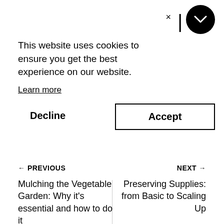This website uses cookies to ensure you get the best experience on our website.
Learn more
Decline
Accept
← PREVIOUS
NEXT →
Mulching the Vegetable Garden: Why it's essential and how to do it
Preserving Supplies: from Basic to Scaling Up